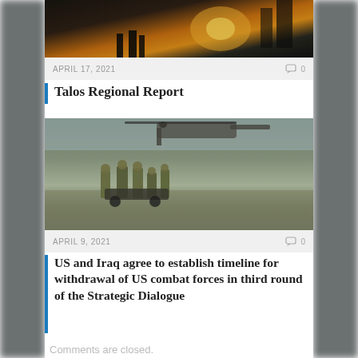[Figure (photo): Partial top-cropped photo showing a silhouette scene at sunset/dusk with people and structures]
APRIL 17, 2021   💬 0
Talos Regional Report
[Figure (photo): Military personnel in combat gear loading or unloading equipment near a Chinook helicopter on open terrain]
APRIL 9, 2021   💬 0
US and Iraq agree to establish timeline for withdrawal of US combat forces in third round of the Strategic Dialogue
Comments are closed.